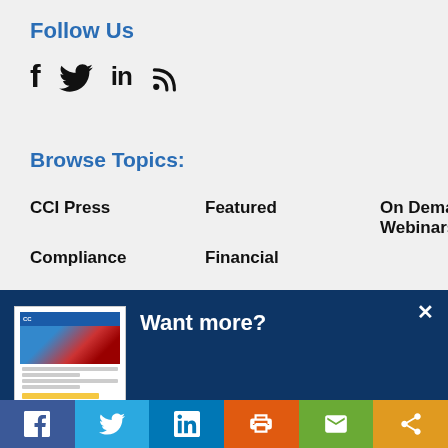Follow Us
[Figure (infographic): Social media icons: Facebook (f), Twitter (bird), LinkedIn (in), RSS feed]
Browse Topics:
CCI Press
Featured
On Demand Webinars
Compliance
Financial
[Figure (screenshot): Modal popup overlay with dark blue background showing 'Want more?' title, newsletter thumbnail image, and text: Get CCI's weekly round-up in your inbox. Unsubscribe anytime. With a 'Let's do this!' button.]
[Figure (infographic): Bottom social sharing bar with Facebook, Twitter, LinkedIn, Print, Email, and Share buttons]